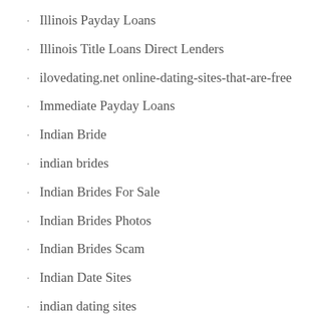Illinois Payday Loans
Illinois Title Loans Direct Lenders
ilovedating.net online-dating-sites-that-are-free
Immediate Payday Loans
Indian Bride
indian brides
Indian Brides For Sale
Indian Brides Photos
Indian Brides Scam
Indian Date Sites
indian dating sites
Indian Dreaming Pokie Machine Pay Table